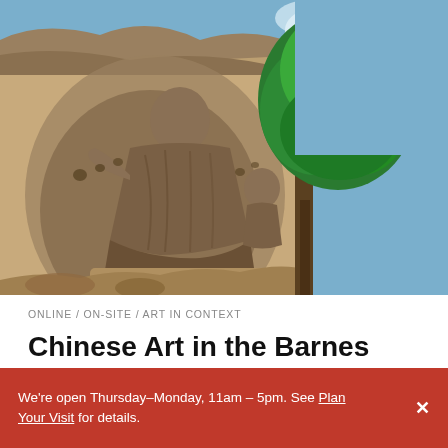[Figure (photo): Large rock-carved Buddha statue set into a cliff face with an overhanging rock canopy. A smaller carved figure is to the right. A large green tree is visible on the right side against a blue sky with clouds. The stone is sandy brown/beige colored. The setting appears to be the Yungang Grottoes or similar Chinese Buddhist cave temple site.]
ONLINE / ON-SITE / ART IN CONTEXT
Chinese Art in the Barnes Collection
We're open Thursday–Monday, 11am – 5pm. See Plan Your Visit for details.